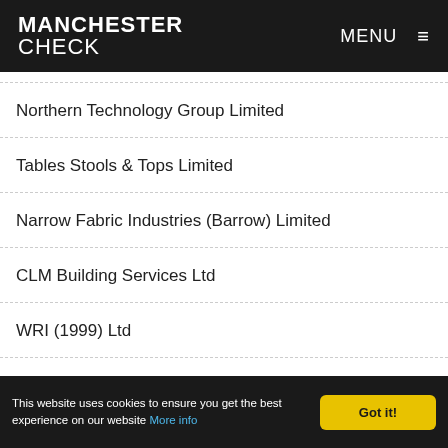MANCHESTER CHECK  MENU
Northern Technology Group Limited
Tables Stools & Tops Limited
Narrow Fabric Industries (Barrow) Limited
CLM Building Services Ltd
WRI (1999) Ltd
Indusoft Limited
Jobmm Reolications Limited
This website uses cookies to ensure you get the best experience on our website More info  Got it!